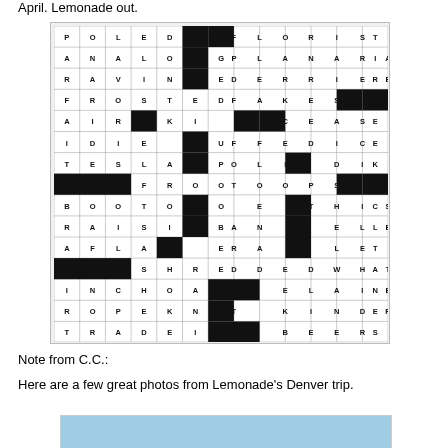April. Lemonade out.
[Figure (other): Completed crossword puzzle grid with answers filled in. Rows include: POLED, FLORIST; ANALOG, PLANARIA; RAVINE, DERRIERE; FROSTEDFAKES; AIR, SKI, CEASE; IDIEPUFFEDICE; TESLAS, POLI, DIK; FROOTOOPS; BOO, TORO, ETHICS; RAISINBAN, ELLE; AFLAC, ERA, LET; SHREDDEDWHAT; INCHOATE, ELAINE; ROPEKNOT, KINDER; TRADEIN, BEERS]
Note from C.C.:
Here are a few great photos from Lemonade's Denver trip.
[Figure (photo): Blue/sky photo strip partially visible at bottom]